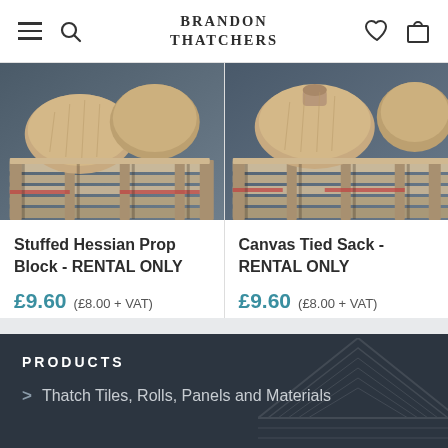BRANDON THATCHERS
[Figure (photo): Stuffed hessian sacks stacked on a wooden pallet crate, photographed against a dark background]
Stuffed Hessian Prop Block - RENTAL ONLY
£9.60  (£8.00 + VAT)
[Figure (photo): Canvas tied sack on a wooden pallet crate, photographed against a dark background]
Canvas Tied Sack - RENTAL ONLY
£9.60  (£8.00 + VAT)
PRODUCTS
> Thatch Tiles, Rolls, Panels and Materials